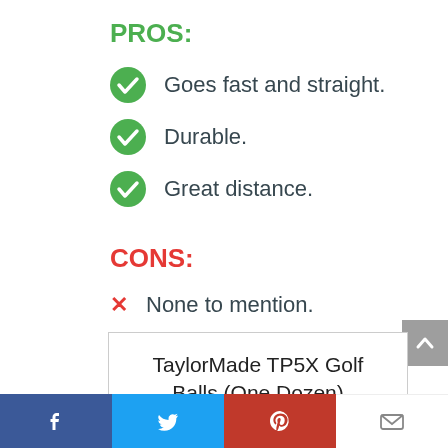PROS:
Goes fast and straight.
Durable.
Great distance.
CONS:
None to mention.
TaylorMade TP5X Golf Balls (One Dozen)
Social share bar: Facebook, Twitter, Pinterest, Email